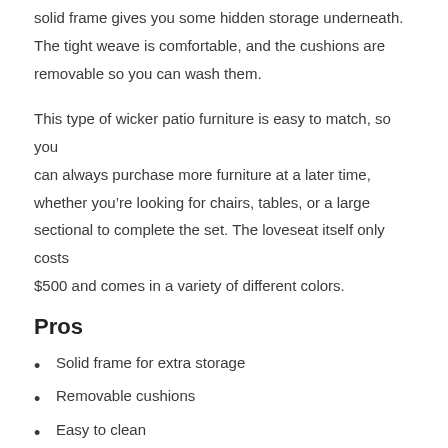solid frame gives you some hidden storage underneath. The tight weave is comfortable, and the cushions are removable so you can wash them.
This type of wicker patio furniture is easy to match, so you can always purchase more furniture at a later time, whether you’re looking for chairs, tables, or a large sectional to complete the set. The loveseat itself only costs $500 and comes in a variety of different colors.
Pros
Solid frame for extra storage
Removable cushions
Easy to clean